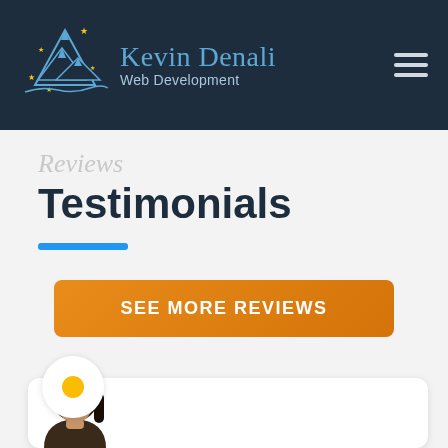Kevin Denali Web Development
Reviews
Testimonials
SEE MORE REVIEWS
[Figure (photo): Bottom of a testimonial review card with a circular avatar showing a Google yellow dot badge and a partial photo of a woman at the bottom]